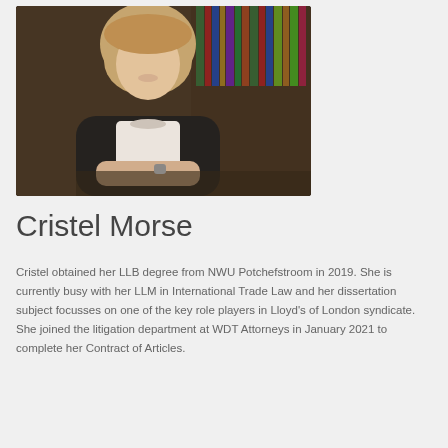[Figure (photo): Professional portrait photo of Cristel Morse, a woman with blonde hair wearing a black blazer and white lace top, seated at a desk with law books visible in the background]
Cristel Morse
Cristel obtained her LLB degree from NWU Potchefstroom in 2019. She is currently busy with her LLM in International Trade Law and her dissertation subject focusses on one of the key role players in Lloyd's of London syndicate. She joined the litigation department at WDT Attorneys in January 2021 to complete her Contract of Articles.